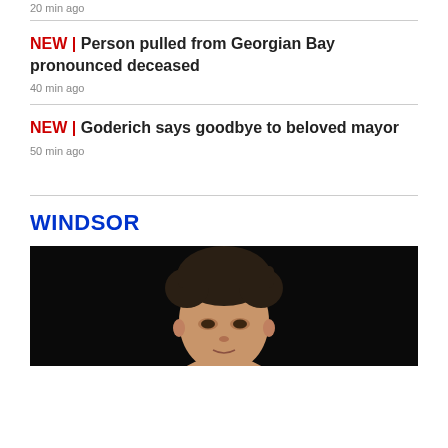20 min ago
NEW | Person pulled from Georgian Bay pronounced deceased
40 min ago
NEW | Goderich says goodbye to beloved mayor
50 min ago
WINDSOR
[Figure (photo): Headshot of a young man with dark hair against a black background]